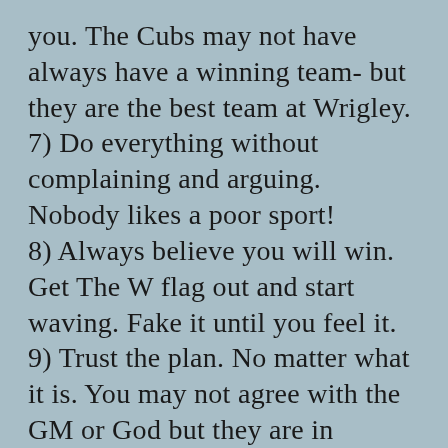you. The Cubs may not have always have a winning team- but they are the best team at Wrigley. 7) Do everything without complaining and arguing. Nobody likes a poor sport! 8) Always believe you will win. Get The W flag out and start waving. Fake it until you feel it. 9) Trust the plan. No matter what it is. You may not agree with the GM or God but they are in charge. 10) Allow yourself to be sad but you need to get up and take another swing. You could hit a home run.